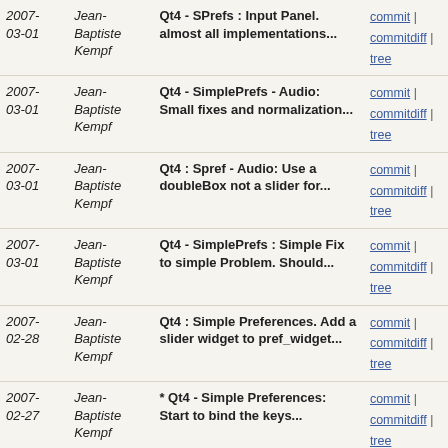| Date | Author | Message | Links |
| --- | --- | --- | --- |
| 2007-03-01 | Jean-Baptiste Kempf | Qt4 - SPrefs : Input Panel. almost all implementations... | commit | commitdiff | tree |
| 2007-03-01 | Jean-Baptiste Kempf | Qt4 - SimplePrefs - Audio: Small fixes and normalization... | commit | commitdiff | tree |
| 2007-03-01 | Jean-Baptiste Kempf | Qt4 : Spref - Audio: Use a doubleBox not a slider for... | commit | commitdiff | tree |
| 2007-03-01 | Jean-Baptiste Kempf | Qt4 - SimplePrefs : Simple Fix to simple Problem. Should... | commit | commitdiff | tree |
| 2007-02-28 | Jean-Baptiste Kempf | Qt4 : Simple Preferences. Add a slider widget to pref_widget... | commit | commitdiff | tree |
| 2007-02-27 | Jean-Baptiste Kempf | * Qt4 - Simple Preferences: Start to bind the keys... | commit | commitdiff | tree |
| 2007-02-26 | Jean-Baptiste Kempf | Configure: should repair --with-libtwolame-tree detection. | commit | commitdiff | tree |
| 2007-02-25 | Jean-Baptiste Kempf | Qt4 : SimplePrefs: various fixes, remove some widgets... | commit | commitdiff | tree |
| 2007-02-25 | Jean-Baptiste Kempf | Qt4- SImple Prefs: Subtitles and TextTitles. | commit | commitdiff | tree |